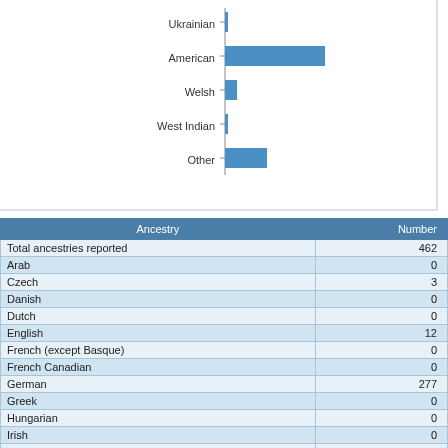[Figure (bar-chart): Ancestry (partial, top of chart cut off)]
| Ancestry | Number |
| --- | --- |
| Total ancestries reported | 462 |
| Arab | 0 |
| Czech | 3 |
| Danish | 0 |
| Dutch | 0 |
| English | 12 |
| French (except Basque) | 0 |
| French Canadian | 0 |
| German | 277 |
| Greek | 0 |
| Hungarian | 0 |
| Irish | 0 |
| Italian | 0 |
| Lithuanian | 0 |
| Norwegian | 16 |
| Polish | 5 |
| Portuguese | 0 |
| Russian | 104 |
| Scotch-Irish | 0 |